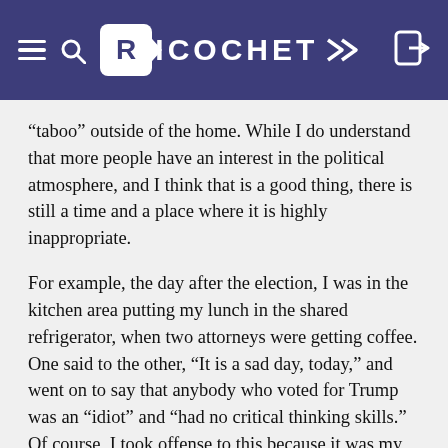RICOCHET
“taboo” outside of the home. While I do understand that more people have an interest in the political atmosphere, and I think that is a good thing, there is still a time and a place where it is highly inappropriate.
For example, the day after the election, I was in the kitchen area putting my lunch in the shared refrigerator, when two attorneys were getting coffee. One said to the other, “It is a sad day, today,” and went on to say that anybody who voted for Trump was an “idiot” and “had no critical thinking skills.” Of course, I took offense to this because it was my demographic he was talking about, but I did not want to out myself. I strongly feel that my political affiliations are not my coworkers’ business (nor do I want to know about theirs). Regardless of my leanings, it was still uncomfortable for me and the